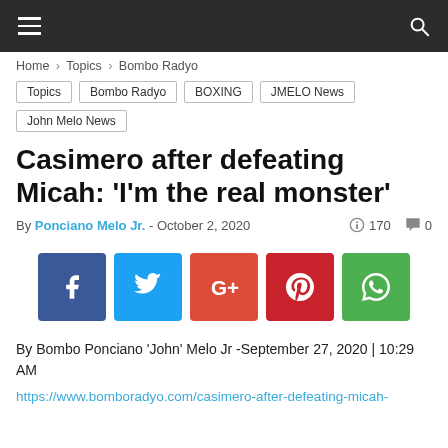≡  🔍
Home › Topics › Bombo Radyo
Topics  Bombo Radyo  BOXING  JMELO News  John Melo News
Casimero after defeating Micah: 'I'm the real monster'
By Ponciano Melo Jr. - October 2, 2020   170  0
[Figure (other): Social share buttons: Facebook, Twitter, Google+, Pinterest, WhatsApp]
By Bombo Ponciano 'John' Melo Jr -September 27, 2020 | 10:29 AM
https://www.bomboradyo.com/casimero-after-defeating-micah-